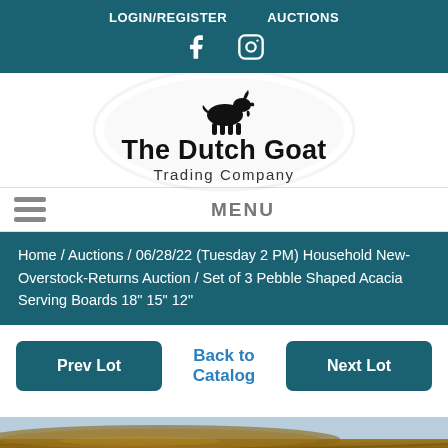LOGIN/REGISTER  AUCTIONS
[Figure (logo): The Dutch Goat Trading Company logo with goat silhouette icon]
MENU
Home / Auctions / 06/28/22 (Tuesday 2 PM) Household New-Overstock-Returns Auction /  Set of 3 Pebble Shaped Acacia Serving Boards 18" 15" 12"
Prev Lot   Back to Catalog   Next Lot
[Figure (photo): Partial view of pebble-shaped acacia wood serving boards]